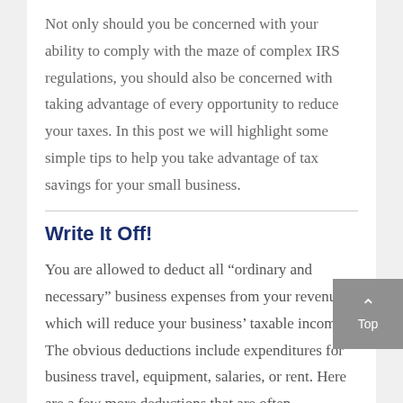Not only should you be concerned with your ability to comply with the maze of complex IRS regulations, you should also be concerned with taking advantage of every opportunity to reduce your taxes. In this post we will highlight some simple tips to help you take advantage of tax savings for your small business.
Write It Off!
You are allowed to deduct all “ordinary and necessary” business expenses from your revenues, which will reduce your business’ taxable income. The obvious deductions include expenditures for business travel, equipment, salaries, or rent. Here are a few more deductions that are often